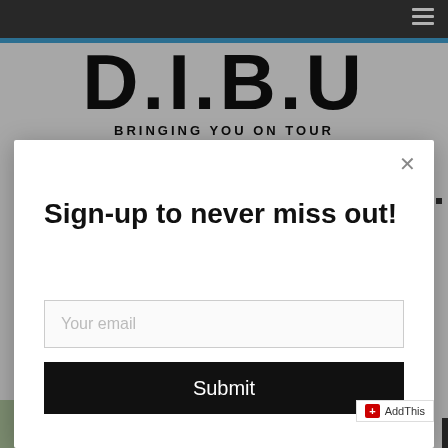Navigation bar with hamburger menu
[Figure (logo): D.I.B.U logo with text BRINGING YOU ON TOUR]
Sign-up to never miss out!
Your email
Submit
Down To Friend – CRAZY TOUR
[Figure (other): AddThis social sharing button]